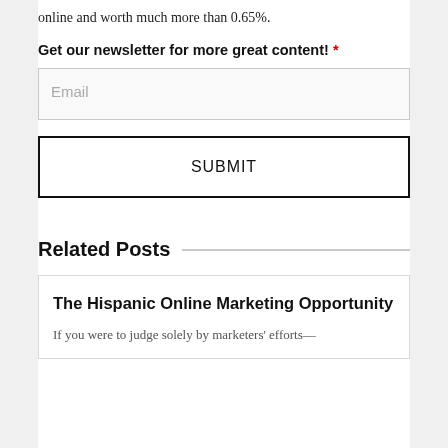online and worth much more than 0.65%.
Get our newsletter for more great content! *
Email
SUBMIT
Related Posts
The Hispanic Online Marketing Opportunity
If you were to judge solely by marketers' efforts—